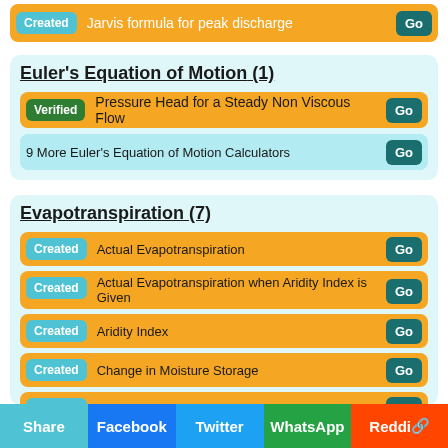Created | Jarvis formula for peak discharge | Go
Euler's Equation of Motion (1)
Verified | Pressure Head for a Steady Non Viscous Flow | Go
9 More Euler's Equation of Motion Calculators | Go
Evapotranspiration (7)
Created | Actual Evapotranspiration | Go
Created | Actual Evapotranspiration when Aridity Index is Given | Go
Created | Aridity Index | Go
Created | Change in Moisture Storage | Go
Created | Precipitation given Change in Moisture Storage | Go
Share | Facebook | Twitter | WhatsApp | Reddit